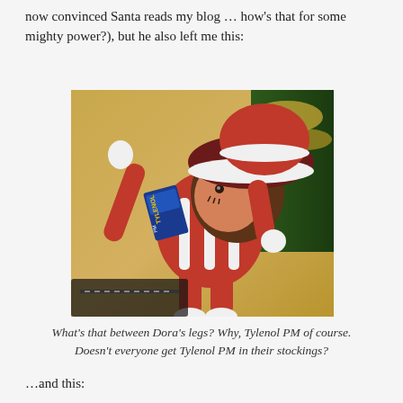now convinced Santa reads my blog … how's that for some mighty power?), but he also left me this:
[Figure (photo): A stuffed Dora the Explorer doll dressed in a red and white Christmas elf outfit, holding a box of Tylenol PM, posed in front of Christmas decorations including gold tinsel and a Christmas tree.]
What's that between Dora's legs? Why, Tylenol PM of course. Doesn't everyone get Tylenol PM in their stockings?
…and this: